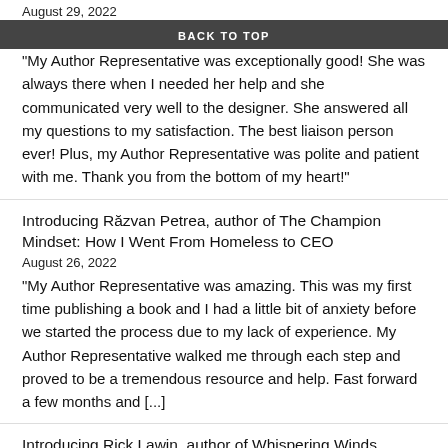August 29, 2022
BACK TO TOP
"My Author Representative was exceptionally good! She was always there when I needed her help and she communicated very well to the designer. She answered all my questions to my satisfaction. The best liaison person ever! Plus, my Author Representative was polite and patient with me. Thank you from the bottom of my heart!"
Introducing Răzvan Petrea, author of The Champion Mindset: How I Went From Homeless to CEO
August 26, 2022
"My Author Representative was amazing. This was my first time publishing a book and I had a little bit of anxiety before we started the process due to my lack of experience. My Author Representative walked me through each step and proved to be a tremendous resource and help. Fast forward a few months and [...]
Introducing Rick Lawin, author of Whispering Winds